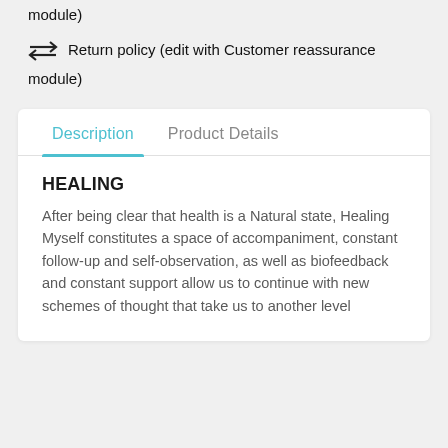module)
Return policy (edit with Customer reassurance module)
Description
Product Details
HEALING
After being clear that health is a Natural state, Healing Myself constitutes a space of accompaniment, constant follow-up and self-observation, as well as biofeedback and constant support allow us to continue with new schemes of thought that take us to another level